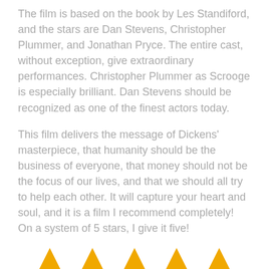The film is based on the book by Les Standiford, and the stars are Dan Stevens, Christopher Plummer, and Jonathan Pryce. The entire cast, without exception, give extraordinary performances. Christopher Plummer as Scrooge is especially brilliant. Dan Stevens should be recognized as one of the finest actors today.
This film delivers the message of Dickens' masterpiece, that humanity should be the business of everyone, that money should not be the focus of our lives, and that we should all try to help each other. It will capture your heart and soul, and it is a film I recommend completely! On a system of 5 stars, I give it five!
[Figure (illustration): Five orange triangle/star rating symbols arranged in a row at the bottom of the page]